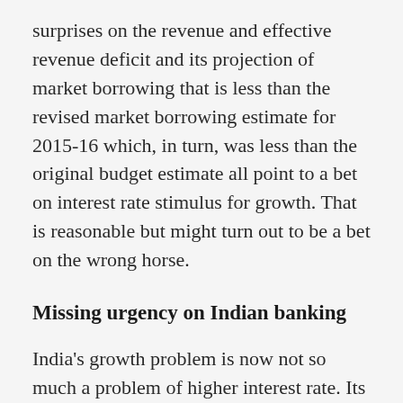surprises on the revenue and effective revenue deficit and its projection of market borrowing that is less than the revised market borrowing estimate for 2015-16 which, in turn, was less than the original budget estimate all point to a bet on interest rate stimulus for growth. That is reasonable but might turn out to be a bet on the wrong horse.
Missing urgency on Indian banking
India's growth problem is now not so much a problem of higher interest rate. Its corporations are still digesting their previous borrowing binge. Its public-sector dominated banking system is capital deficient and unable to lend. On that score, the budget disappoints with its allocation of a meagre